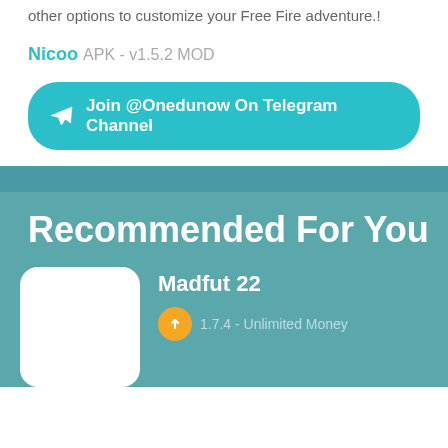other options to customize your Free Fire adventure.!
Nicoo APK - v1.5.2 MOD
Join @Onedunow On Telegram Channel
Recommended For You
Madfut 22
1.7.4 - Unlimited Money